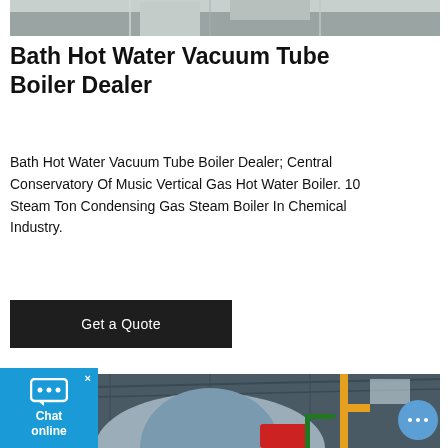[Figure (photo): Top portion of industrial boiler facility — partial view of equipment in a factory/warehouse setting, cropped at top of page]
Bath Hot Water Vacuum Tube Boiler Dealer
Bath Hot Water Vacuum Tube Boiler Dealer; Central Conservatory Of Music Vertical Gas Hot Water Boiler. 10 Steam Ton Condensing Gas Steam Boiler In Chemical Industry.
[Figure (other): Dark rectangular button labeled 'Get a Quote' with white text on black/dark background]
[Figure (photo): Industrial steam boiler inside a warehouse/factory — large cylindrical silver boiler with blue front face, red burner component, yellow piping, and green metal frame visible. Corrugated metal roof overhead.]